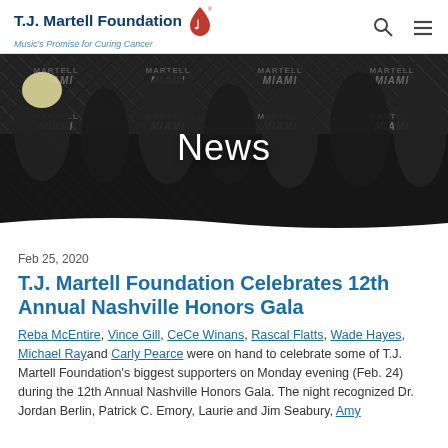T.J. Martell Foundation | Music's Promise for Curing Cancer
[Figure (photo): Group photo of musicians and supporters at the Martell Miami step-and-repeat backdrop, with 'News' text overlay]
Feb 25, 2020
T.J. Martell Foundation Celebrates 12th Annual Nashville Honors Gala
Reba McEntire, Vince Gill, CeCe Winans, Rascal Flatts, Wade Hayes, Michael Ray and Carly Pearce were on hand to celebrate some of T.J. Martell Foundation's biggest supporters on Monday evening (Feb. 24) during the 12th Annual Nashville Honors Gala. The night recognized Dr. Jordan Berlin, Patrick C. Emory, Laurie and Jim Seabury, Amy